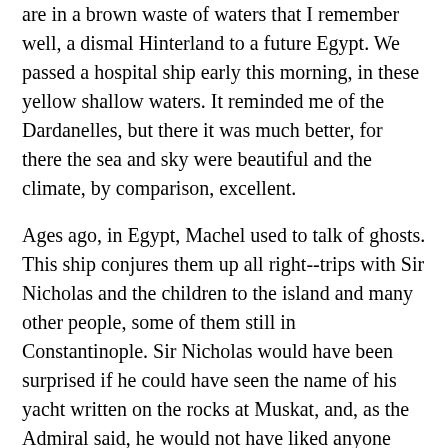are in a brown waste of waters that I remember well, a dismal Hinterland to a future Egypt. We passed a hospital ship early this morning, in these yellow shallow waters. It reminded me of the Dardanelles, but there it was much better, for there the sea and sky were beautiful and the climate, by comparison, excellent.
Ages ago, in Egypt, Machel used to talk of ghosts. This ship conjures them up all right--trips with Sir Nicholas and the children to the island and many other people, some of them still in Constantinople. Sir Nicholas would have been surprised if he could have seen the name of his yacht written on the rocks at Muskat, and, as the Admiral said, he would not have liked anyone else in command of his yacht, here or in any other waters. Townshend has telegraphed some time ago to say he could only hold out until April 1st. Here we are at the 9th.
Monday, April 10th, 1916. H.M.S. "Imogene." Kurna. Yesterday we arrived at Basra. It looked very beautiful and green, but we only had a short time. Everything seemed in a state of great confusion. Two Generals came aboard. They